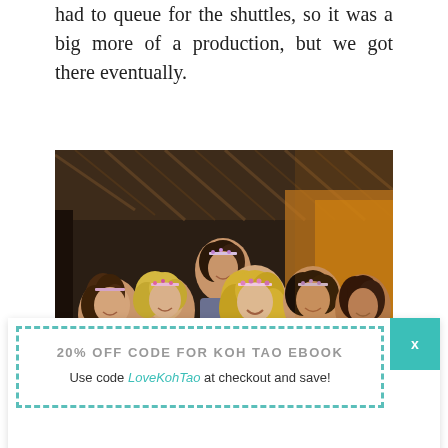had to queue for the shuttles, so it was a big more of a production, but we got there eventually.
[Figure (photo): Group photo of five young women wearing flower crowns, smiling at the camera inside what appears to be a festival venue with thatched roof and warm lighting.]
20% OFF CODE FOR KOH TAO EBOOK
Use code LoveKohTao at checkout and save!
I loved seeing the looks on everyone's faces when they saw the festival grounds for the first time! There were still a few acts to go before the headliners, so we spent that time running around, nomming